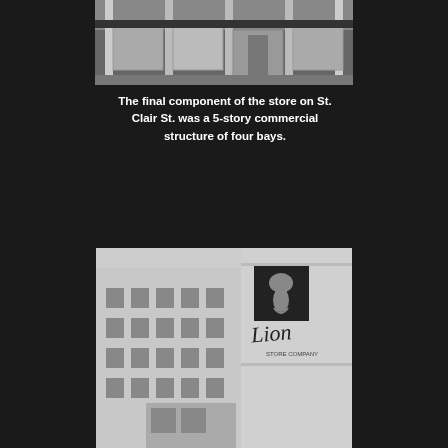[Figure (photo): Black and white photograph of a multi-bay commercial storefront building facade with large windows and columns]
The final component of the store on St. Clair St. was a 5-story commercial structure of four bays.
[Figure (photo): Black and white photograph of a multi-story building exterior with 'Lion' script signage and lion logo on the upper facade]